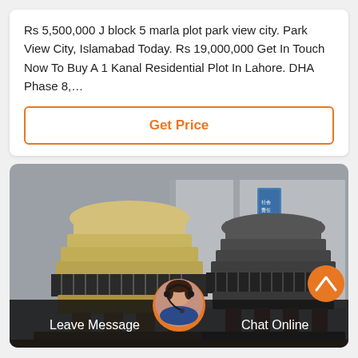Rs 5,500,000 J block 5 marla plot park view city. Park View City, Islamabad Today. Rs 19,000,000 Get In Touch Now To Buy A 1 Kanal Residential Plot In Lahore. DHA Phase 8,…
Get Price
[Figure (photo): Two large cone crushers / industrial crushing machines in a factory setting. The left one is yellowish-beige colored, the right one is dark grey. Both sit on heavy metal frames with visible springs and mechanical components. Industrial building visible in background.]
Leave Message
Chat Online